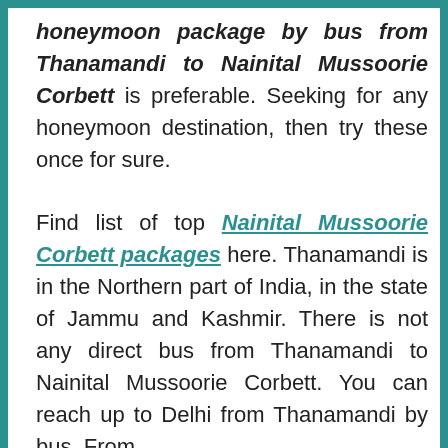honeymoon package by bus from Thanamandi to Nainital Mussoorie Corbett is preferable. Seeking for any honeymoon destination, then try these once for sure.

Find list of top Nainital Mussoorie Corbett packages here. Thanamandi is in the Northern part of India, in the state of Jammu and Kashmir. There is not any direct bus from Thanamandi to Nainital Mussoorie Corbett. You can reach up to Delhi from Thanamandi by bus. From